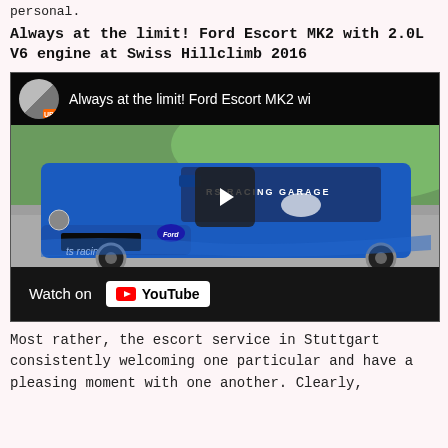personal.
Always at the limit! Ford Escort MK2 with 2.0L V6 engine at Swiss Hillclimb 2016
[Figure (screenshot): YouTube video thumbnail showing a blue Ford Escort MK2 racing car with 'RS RACING GARAGE' windshield banner and 'ts racing.ch' on the front splitter, on a racetrack. Has YouTube-style top bar with channel avatar and video title 'Always at the limit! Ford Escort MK2 wi...' and a 'Watch on YouTube' button at the bottom.]
Most rather, the escort service in Stuttgart consistently welcoming one particular and have a pleasing moment with one another. Clearly,